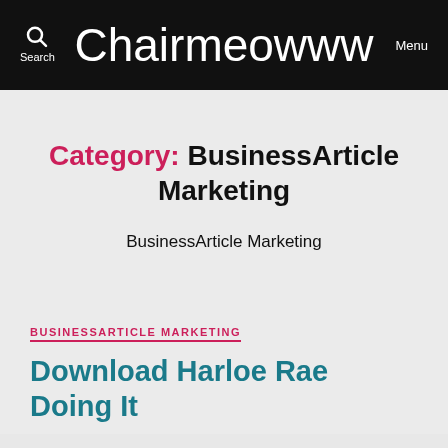Search | Chairmeowww | Menu
Category: BusinessArticle Marketing
BusinessArticle Marketing
BUSINESSARTICLE MARKETING
Download Harloe Rae Doing It